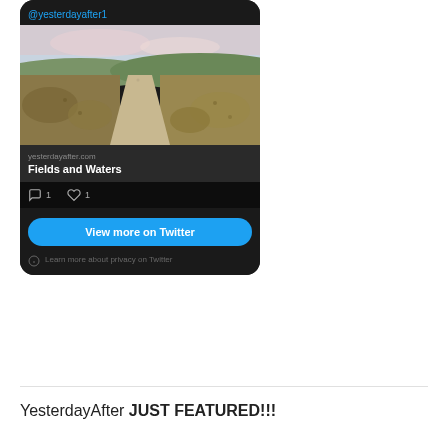[Figure (screenshot): Twitter/X embedded card showing a landscape watercolor painting with fields and a path, from @yesterdayafter1, linking to yesterdayafter.com, titled 'Fields and Waters', with 1 comment and 1 like, and a 'View more on Twitter' button]
yesterdayafter.com
Fields and Waters
View more on Twitter
Learn more about privacy on Twitter
YesterdayAfter JUST FEATURED!!!